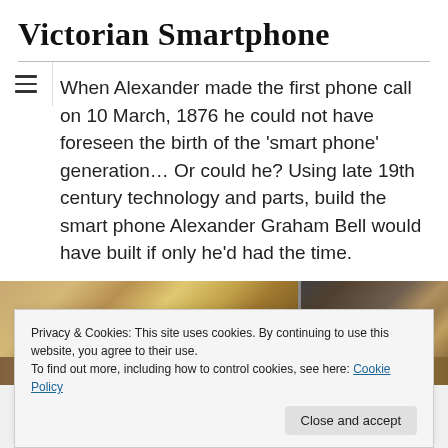Victorian Smartphone
When Alexander made the first phone call on 10 March, 1876 he could not have foreseen the birth of the 'smart phone' generation… Or could he? Using late 19th century technology and parts, build the smart phone Alexander Graham Bell would have built if only he'd had the time.
[Figure (photo): Two Victorian-era telephone/mechanical device photographs side by side: left shows brass components and wooden parts, right shows a gear/wheel mechanism against dark background.]
[Figure (photo): Bottom partial row of photos showing Victorian smartphone components.]
Privacy & Cookies: This site uses cookies. By continuing to use this website, you agree to their use.
To find out more, including how to control cookies, see here: Cookie Policy
Close and accept